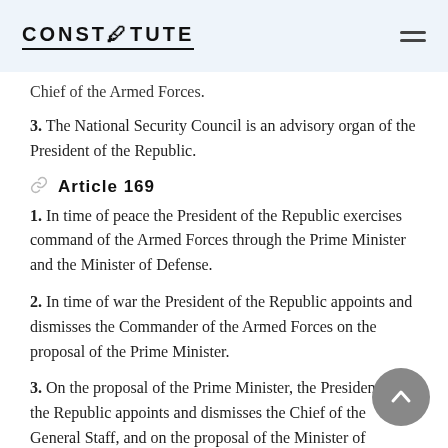CONSTITUTE
Chief of the Armed Forces.
3. The National Security Council is an advisory organ of the President of the Republic.
Article 169
1. In time of peace the President of the Republic exercises command of the Armed Forces through the Prime Minister and the Minister of Defense.
2. In time of war the President of the Republic appoints and dismisses the Commander of the Armed Forces on the proposal of the Prime Minister.
3. On the proposal of the Prime Minister, the President of the Republic appoints and dismisses the Chief of the General Staff, and on the proposal of the Minister of